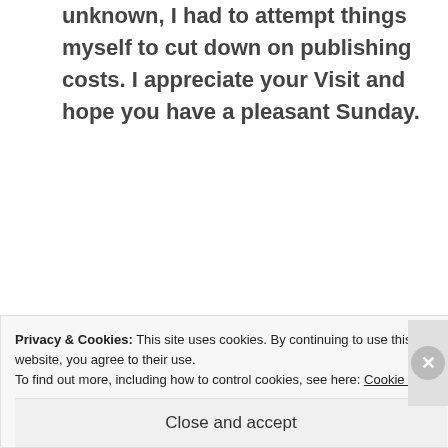unknown, I had to attempt things myself to cut down on publishing costs. I appreciate your Visit and hope you have a pleasant Sunday.
★ Like
REPLY
yvettemcalleiro
APRIL 22, 2017 AT 23:42
Privacy & Cookies: This site uses cookies. By continuing to use this website, you agree to their use.
To find out more, including how to control cookies, see here: Cookie Policy
Close and accept